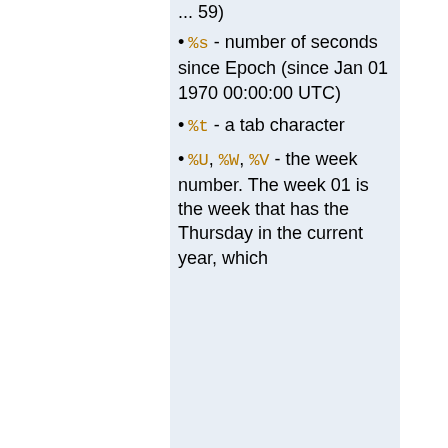second (00 ... 59)
%s - number of seconds since Epoch (since Jan 01 1970 00:00:00 UTC)
%t - a tab character
%U, %W, %V - the week number. The week 01 is the week that has the Thursday in the current year, which